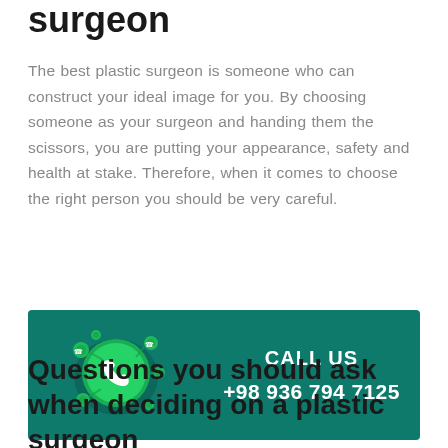surgeon
The best plastic surgeon is someone who can construct your ideal image for you. By choosing someone as your surgeon and handing them the scissors, you are putting your appearance, safety and health at stake. Therefore, when it comes to choose the right person you should be very careful.
[Figure (infographic): Teal/green banner with a 3D WhatsApp icon on the left and CALL US text with phone number +98 936 794 7125 on the right]
Questions you should ask when deciding on a plastic surgeon